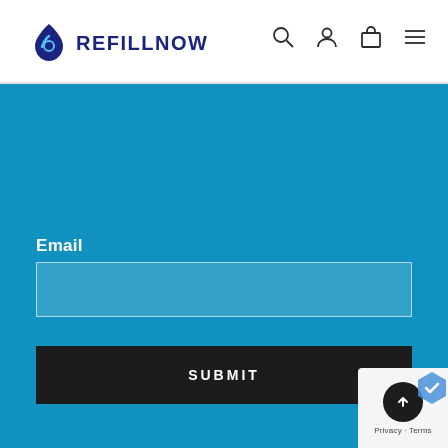REFILLNOW
Email
SUBMIT
Privacy · Terms